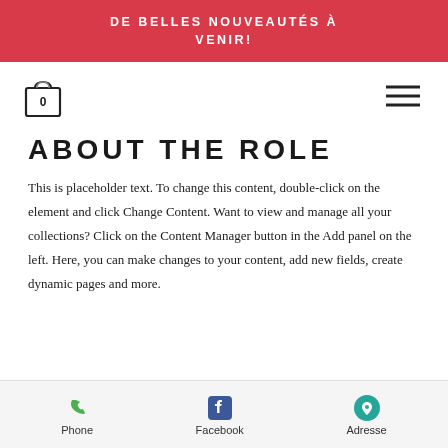DE BELLES NOUVEAUTÉS À VENIR!
[Figure (other): Shopping bag icon with '0' and hamburger menu icon]
ABOUT THE ROLE
This is placeholder text. To change this content, double-click on the element and click Change Content. Want to view and manage all your collections? Click on the Content Manager button in the Add panel on the left. Here, you can make changes to your content, add new fields, create dynamic pages and more.
Phone   Facebook   Adresse